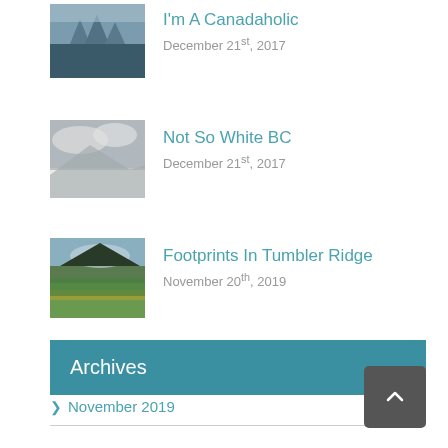[Figure (photo): Snowy mountain forest landscape thumbnail]
I'm A Canadaholic
December 21st, 2017
[Figure (photo): Black and white cloudy mountain snow landscape thumbnail]
Not So White BC
December 21st, 2017
[Figure (photo): Green forest hillside landscape thumbnail]
Footprints In Tumbler Ridge
November 20th, 2019
Archives
November 2019